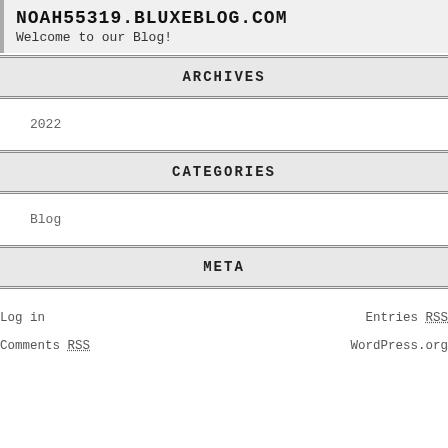NOAH55319.BLUXEBLOG.COM
Welcome to our Blog!
ARCHIVES
2022
CATEGORIES
Blog
META
Log in
Entries RSS
Comments RSS
WordPress.org